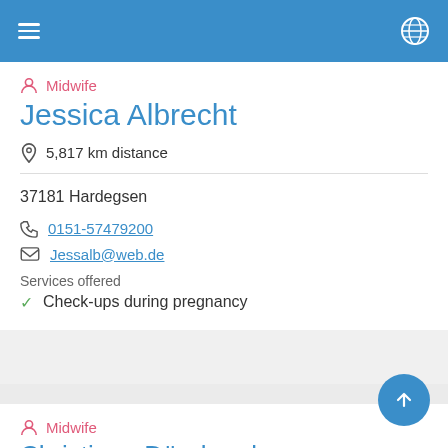Navigation header with hamburger menu and globe icon
Midwife
Jessica Albrecht
5,817 km distance
37181 Hardegsen
0151-57479200
Jessalb@web.de
Services offered
Check-ups during pregnancy
Midwife
Christiane Dörnbrack